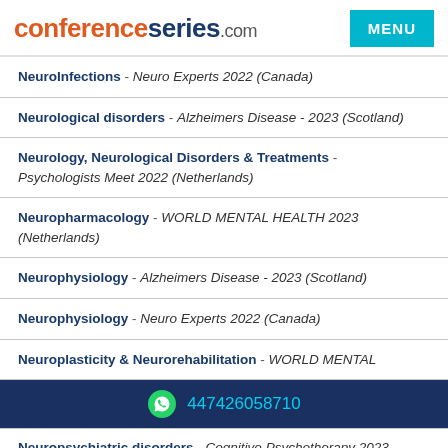conferenceseries.com
NeuroInfections - Neuro Experts 2022 (Canada)
Neurological disorders - Alzheimers Disease - 2023 (Scotland)
Neurology, Neurological Disorders & Treatments - Psychologists Meet 2022 (Netherlands)
Neuropharmacology - WORLD MENTAL HEALTH 2023 (Netherlands)
Neurophysiology - Alzheimers Disease - 2023 (Scotland)
Neurophysiology - Neuro Experts 2022 (Canada)
Neuroplasticity & Neurorehabilitation - WORLD MENTAL
447426058710
Neuropsychiatric disorders - Cognitive Psychotherapy 2023